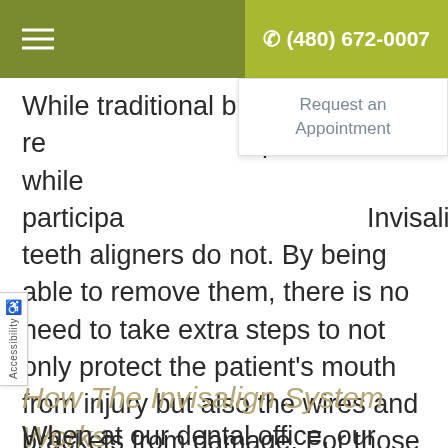☰  ✆ (480) 672-0007
Request an Appointment
While traditional braces require extra protection while participating in sports, Invisalign teeth aligners do not. By being able to remove them, there is no need to take extra steps to not only protect the patient's mouth from injury but also the wires and brackets from damage. For those patients wanting to straighten their teeth and have their perfect smile without the limitations of traditional braces, Invisalign is the obvious choice.
How The Invisalign System Works
When at our dental office, our dental team